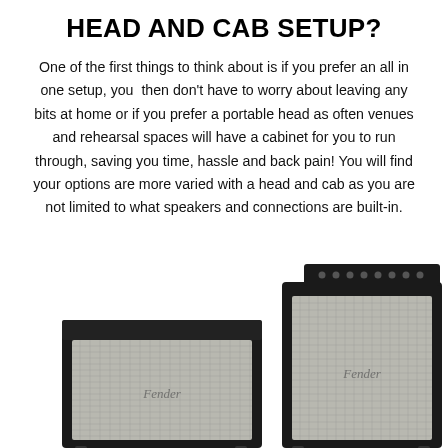HEAD AND CAB SETUP?
One of the first things to think about is if you prefer an all in one setup, you then don't have to worry about leaving any bits at home or if you prefer a portable head as often venues and rehearsal spaces will have a cabinet for you to run through, saving you time, hassle and back pain! You will find your options are more varied with a head and cab as you are not limited to what speakers and connections are built-in.
[Figure (photo): Two Fender bass amplifiers side by side. On the left is a smaller combo amplifier with the Fender logo on the grille cloth. On the right is a larger cabinet (speaker cab) with a small amp head unit sitting on top of it, also with the Fender logo on the grille cloth. Both are black with silver/grey grille cloth.]